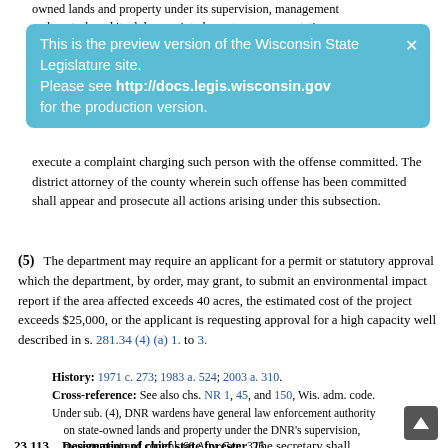owned lands and property under its supervision, management and control, and its duly appointed agents or representatives
This is the preview version of the Wisconsin State Legislature site. Please see http://docs.legis.wisconsin.gov for the production version.
execute a complaint charging such person with the offense committed. The district attorney of the county wherein such offense has been committed shall appear and prosecute all actions arising under this subsection.
(5) The department may require an applicant for a permit or statutory approval which the department, by order, may grant, to submit an environmental impact report if the area affected exceeds 40 acres, the estimated cost of the project exceeds $25,000, or the applicant is requesting approval for a high capacity well described in s. 281.34 (4) (a) 1. to 3.
History: 1971 c. 273; 1983 a. 524; 2003 a. 310.
Cross-reference: See also chs. NR 1, 45, and 150, Wis. adm. code.
Under sub. (4), DNR wardens have general law enforcement authority on state-owned lands and property under the DNR's supervision, management and control. 68 Atty. Gen. 326.
23.113 Designation of chief state forester. The secretary shall designate the administrator of the division of forestry in the department as the chief state forester. The chief state forester shall be a professional forester as recognized by the Society of